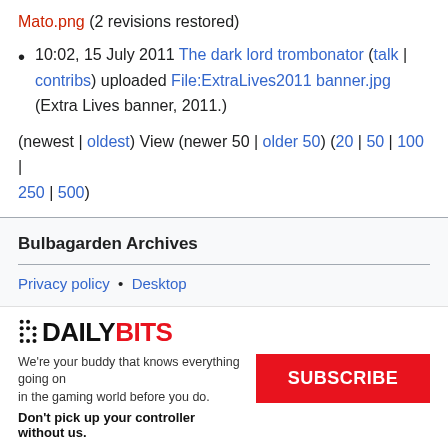Mato.png (2 revisions restored)
10:02, 15 July 2011 The dark lord trombonator (talk | contribs) uploaded File:ExtraLives2011 banner.jpg (Extra Lives banner, 2011.)
(newest | oldest) View (newer 50 | older 50) (20 | 50 | 100 | 250 | 500)
Bulbagarden Archives
Privacy policy • Desktop
[Figure (logo): DailyBits logo with pixel art D icon, black DAILY text and red BITS text]